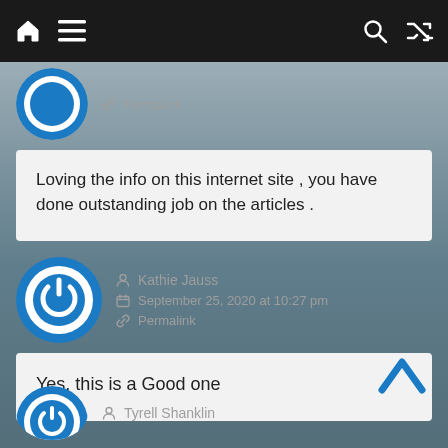Navigation bar with home, menu, search, and shuffle icons
Permalink
Loving the info on this internet site , you have done outstanding job on the articles .
Kathie Jauss
September 25, 2020 at 10:27 pm
Permalink
Yes, this is a Good one
Tyrell Shanklin